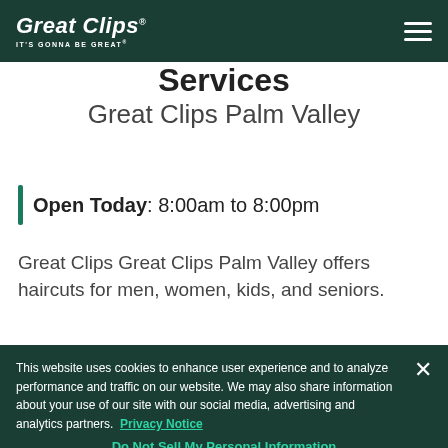Great Clips® IT'S GONNA BE GREAT®
Great Clips Hair Salon Services
Great Clips Palm Valley
Open Today: 8:00am to 8:00pm
Great Clips Great Clips Palm Valley offers haircuts for men, women, kids, and seniors.
This website uses cookies to enhance user experience and to analyze performance and traffic on our website. We may also share information about your use of our site with our social media, advertising and analytics partners. Privacy Notice
Do Not Sell My Personal Information